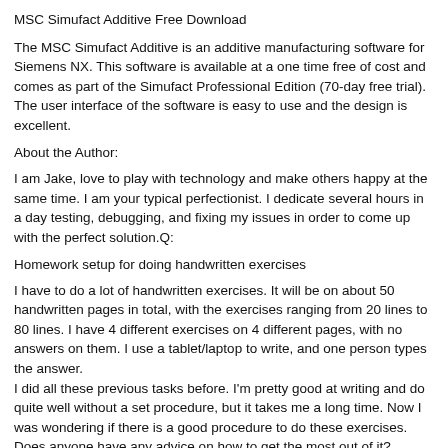MSC Simufact Additive Free Download
The MSC Simufact Additive is an additive manufacturing software for Siemens NX. This software is available at a one time free of cost and comes as part of the Simufact Professional Edition (70-day free trial). The user interface of the software is easy to use and the design is excellent.
About the Author:
I am Jake, love to play with technology and make others happy at the same time. I am your typical perfectionist. I dedicate several hours in a day testing, debugging, and fixing my issues in order to come up with the perfect solution.Q:
Homework setup for doing handwritten exercises
I have to do a lot of handwritten exercises. It will be on about 50 handwritten pages in total, with the exercises ranging from 20 lines to 80 lines. I have 4 different exercises on 4 different pages, with no answers on them. I use a tablet/laptop to write, and one person types the answer.
I did all these previous tasks before. I'm pretty good at writing and do quite well without a set procedure, but it takes me a long time. Now I was wondering if there is a good procedure to do these exercises. Does anyone have any advice on how to get the most out of it?
Here are the procedures I have used when I was writing before:
They have an exercise on each page. You start at A1 and write the exercise. When you get to the bottom, you put your name at the bottom and start on the next page. When the exercise is done, you get to fill in the blanks for the answers, write your answers and stamp with a